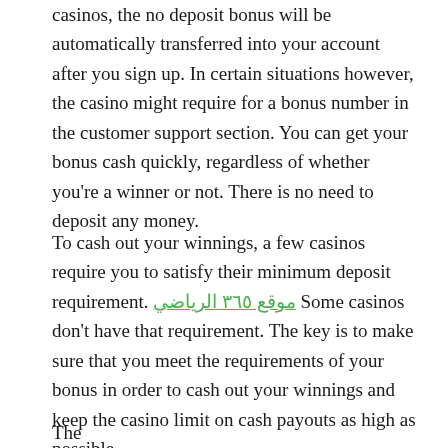casinos, the no deposit bonus will be automatically transferred into your account after you sign up. In certain situations however, the casino might require for a bonus number in the customer support section. You can get your bonus cash quickly, regardless of whether you're a winner or not. There is no need to deposit any money.
To cash out your winnings, a few casinos require you to satisfy their minimum deposit requirement. موقع ٣٦٥ الرياضي Some casinos don't have that requirement. The key is to make sure that you meet the requirements of your bonus in order to cash out your winnings and keep the casino limit on cash payouts as high as possible.
The...